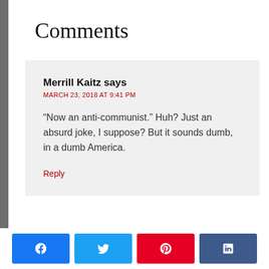Comments
Merrill Kaitz says
MARCH 23, 2018 AT 9:41 PM

“Now an anti-communist.” Huh? Just an absurd joke, I suppose? But it sounds dumb, in a dumb America.

Reply
[Figure (infographic): Four social share buttons: Facebook (blue), Twitter (light blue), Pinterest (red), LinkedIn (dark blue), each with the respective platform icon in white.]